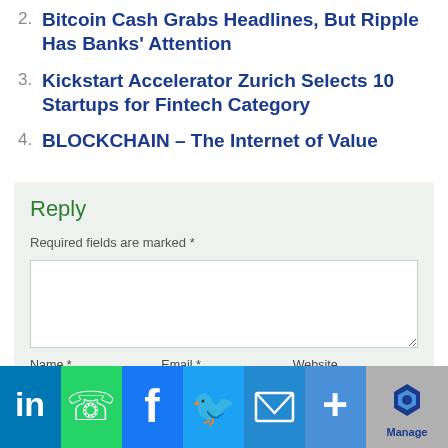2. Bitcoin Cash Grabs Headlines, But Ripple Has Banks' Attention
3. Kickstart Accelerator Zurich Selects 10 Startups for Fintech Category
4. BLOCKCHAIN – The Internet of Value
Reply
Required fields are marked *
[Figure (other): Social sharing buttons: LinkedIn, WhatsApp, Facebook, Twitter, Email, More; and a Manage badge]